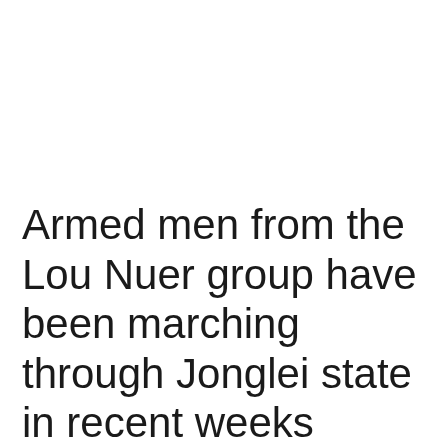Armed men from the Lou Nuer group have been marching through Jonglei state in recent weeks